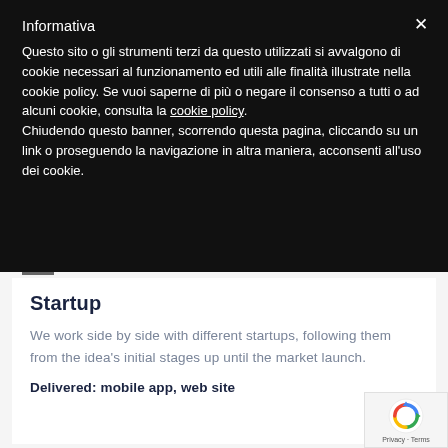Informativa
Questo sito o gli strumenti terzi da questo utilizzati si avvalgono di cookie necessari al funzionamento ed utili alle finalità illustrate nella cookie policy. Se vuoi saperne di più o negare il consenso a tutti o ad alcuni cookie, consulta la cookie policy.
Chiudendo questo banner, scorrendo questa pagina, cliccando su un link o proseguendo la navigazione in altra maniera, acconsenti all'uso dei cookie.
Startup
We work side by side with different startups, following them from the idea's initial stages up until the market launch.
Delivered: mobile app, web site